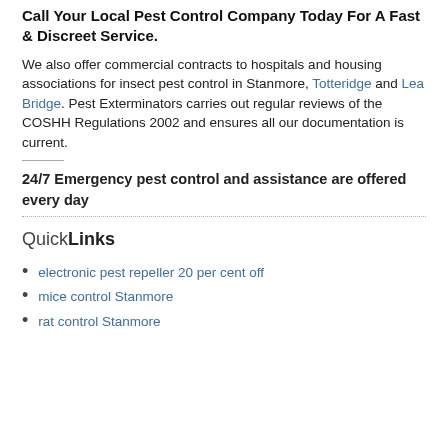Call Your Local Pest Control Company Today For A Fast & Discreet Service.
We also offer commercial contracts to hospitals and housing associations for insect pest control in Stanmore, Totteridge and Lea Bridge. Pest Exterminators carries out regular reviews of the COSHH Regulations 2002 and ensures all our documentation is current.
24/7 Emergency pest control and assistance are offered every day
QuickLinks
electronic pest repeller 20 per cent off
mice control Stanmore
rat control Stanmore